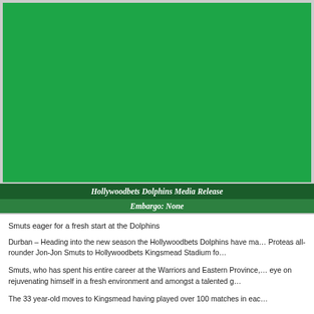[Figure (photo): Large green background image block, appearing to be a photograph with a predominantly green color field (possibly a cricket ground or pitch). The image fills the upper portion of the page.]
Hollywoodbets Dolphins Media Release
Embargo: None
Smuts eager for a fresh start at the Dolphins
Durban – Heading into the new season the Hollywoodbets Dolphins have ma... Proteas all-rounder Jon-Jon Smuts to Hollywoodbets Kingsmead Stadium fo...
Smuts, who has spent his entire career at the Warriors and Eastern Province, ... eye on rejuvenating himself in a fresh environment and amongst a talented g...
The 33 year-old moves to Kingsmead having played over 100 matches in eac...